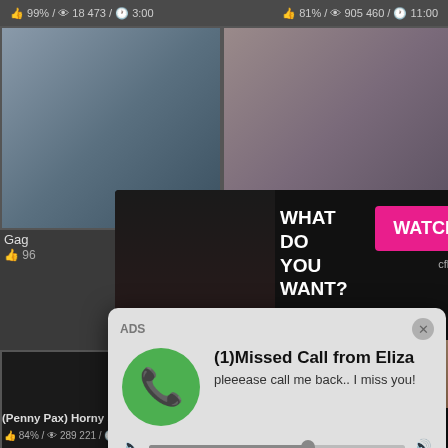99% / 18 473 / 3:00   81% / 905 460 / 11:00
[Figure (screenshot): Video thumbnail grid showing adult content website with two rows of video thumbnails, overlaid with popup ads]
WHAT DO YOU WANT?
WATCH
Online
Cumming, ass fucking, squirt or...
• ADS
Gag
96
ur
ADS
(1)Missed Call from Eliza
pleeease call me back.. I miss you!
0:00
3:23
(Penny Pax) Horny Slut
Grandfather and
84% / 289 221 / 7:00   97% / 472 863 / 25:00